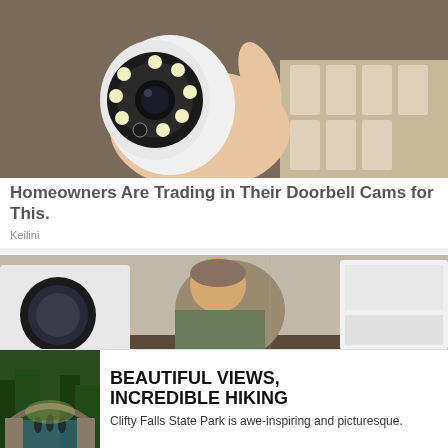[Figure (photo): A hand holding a small white security camera with multiple LED lights around the lens, with boxes of similar cameras in the background.]
Homeowners Are Trading in Their Doorbell Cams for This.
Keilini
[Figure (photo): A person in military clothing looking at a washer/dryer appliance, with white appliances in the background.]
[Figure (photo): People hiking under a stone bridge in a lush green forest.]
BEAUTIFUL VIEWS, INCREDIBLE HIKING
Clifty Falls State Park is awe-inspiring and picturesque.